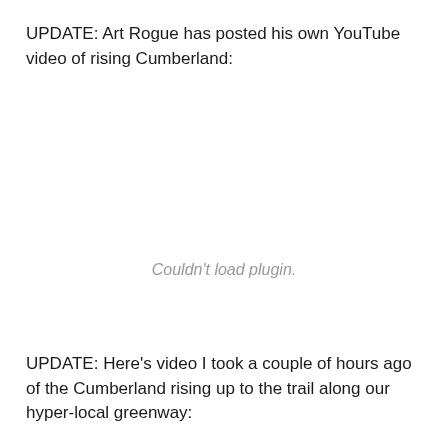UPDATE: Art Rogue has posted his own YouTube video of rising Cumberland:
[Figure (other): Embedded video plugin area showing 'Couldn't load plugin.' message in gray text]
UPDATE: Here's video I took a couple of hours ago of the Cumberland rising up to the trail along our hyper-local greenway: